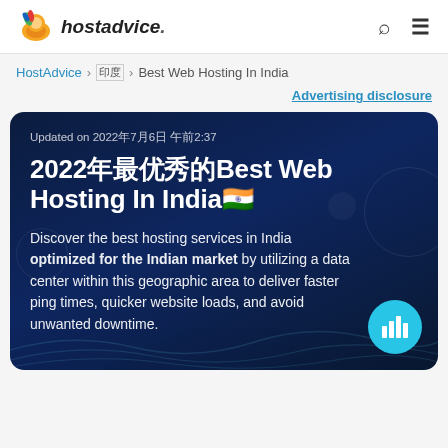hostadvice.
HostAdvice > 인도 > Best Web Hosting In India
Advertising disclosure
Updated on 2022년7월6일 오전2:37
2022년 최고의 Best Web Hosting In India🇮🇳
Discover the best hosting services in India optimized for the Indian market by utilizing a data center within this geographic area to deliver faster ping times, quicker website loads, and avoid unwanted downtime.